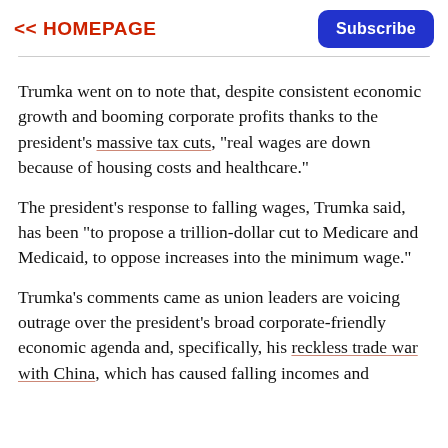<< HOMEPAGE   Subscribe
Trumka went on to note that, despite consistent economic growth and booming corporate profits thanks to the president's massive tax cuts, "real wages are down because of housing costs and healthcare."
The president's response to falling wages, Trumka said, has been "to propose a trillion-dollar cut to Medicare and Medicaid, to oppose increases into the minimum wage."
Trumka's comments came as union leaders are voicing outrage over the president's broad corporate-friendly economic agenda and, specifically, his reckless trade war with China, which has caused falling incomes and